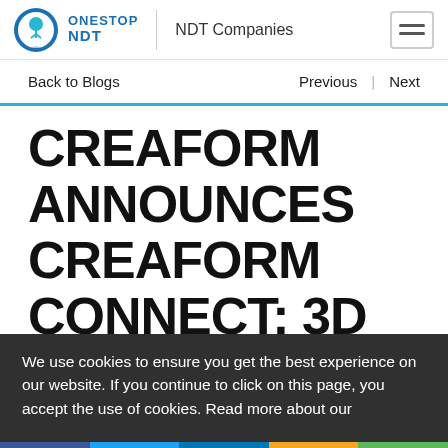OneStop NDT | NDT Companies
Back to Blogs     Previous  |  Next
CREAFORM ANNOUNCES CREAFORM CONNECT: 3D
We use cookies to ensure you get the best experience on our website. If you continue to click on this page, you accept the use of cookies. Read more about our
f  [Twitter]  in  SMS  [Share]